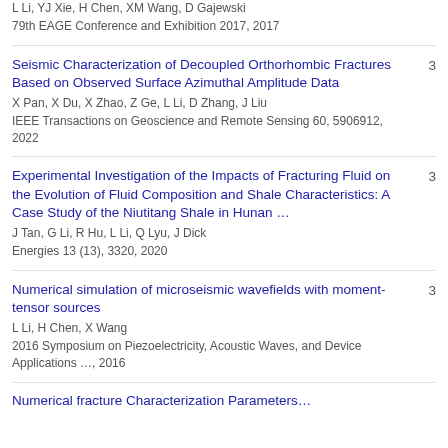L Li, YJ Xie, H Chen, XM Wang, D Gajewski
79th EAGE Conference and Exhibition 2017, 2017
Seismic Characterization of Decoupled Orthorhombic Fractures Based on Observed Surface Azimuthal Amplitude Data
X Pan, X Du, X Zhao, Z Ge, L Li, D Zhang, J Liu
IEEE Transactions on Geoscience and Remote Sensing 60, 5906912, 2022
3
Experimental Investigation of the Impacts of Fracturing Fluid on the Evolution of Fluid Composition and Shale Characteristics: A Case Study of the Niutitang Shale in Hunan …
J Tan, G Li, R Hu, L Li, Q Lyu, J Dick
Energies 13 (13), 3320, 2020
3
Numerical simulation of microseismic wavefields with moment-tensor sources
L Li, H Chen, X Wang
2016 Symposium on Piezoelectricity, Acoustic Waves, and Device Applications …, 2016
3
Numerical fracture Characterization Parameters...